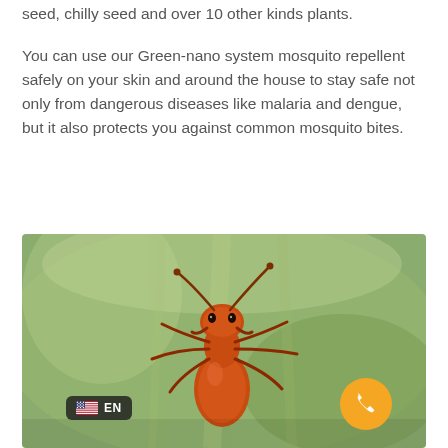seed, chilly seed and over 10 other kinds plants.
You can use our Green-nano system mosquito repellent safely on your skin and around the house to stay safe not only from dangerous diseases like malaria and dengue, but it also protects you against common mosquito bites.
[Figure (photo): Close-up macro photograph of a red ant on green blurred background, with a language selector badge showing US flag and 'EN' text in the lower left, and an orange phone call button in the lower right corner.]